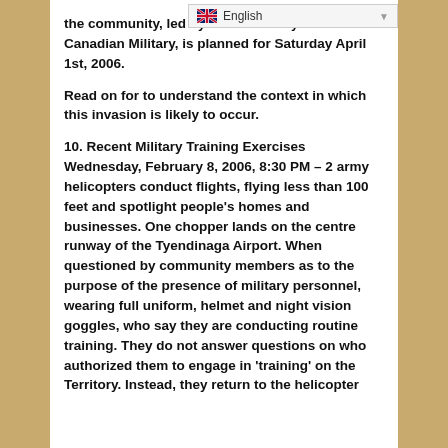the community, led by the R[...] by the Canadian Military, is planned for Saturday April 1st, 2006.
Read on for to understand the context in which this invasion is likely to occur.
10. Recent Military Training Exercises Wednesday, February 8, 2006, 8:30 PM – 2 army helicopters conduct flights, flying less than 100 feet and spotlight people's homes and businesses. One chopper lands on the centre runway of the Tyendinaga Airport. When questioned by community members as to the purpose of the presence of military personnel, wearing full uniform, helmet and night vision goggles, who say they are conducting routine training. They do not answer questions on who authorized them to engage in 'training' on the Territory. Instead, they return to the helicopter